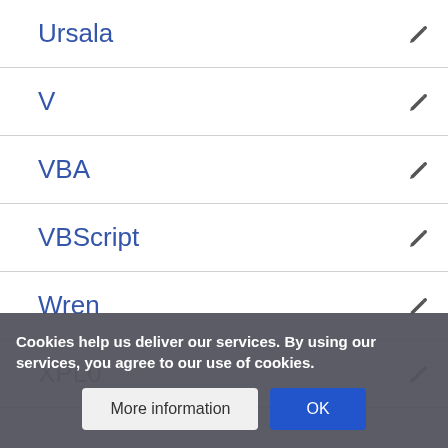Ursala
V
VBA
VBScript
Wren
XPL0
Cookies help us deliver our services. By using our services, you agree to our use of cookies.
More information | OK